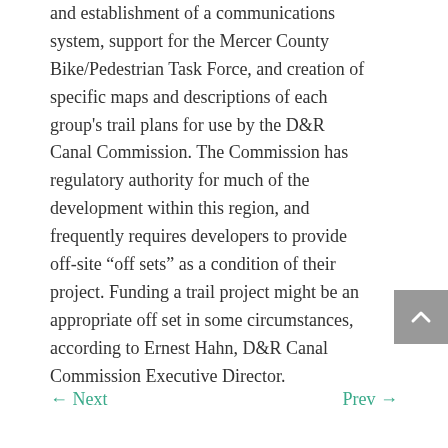and establishment of a communications system, support for the Mercer County Bike/Pedestrian Task Force, and creation of specific maps and descriptions of each group's trail plans for use by the D&R Canal Commission. The Commission has regulatory authority for much of the development within this region, and frequently requires developers to provide off-site “off sets” as a condition of their project. Funding a trail project might be an appropriate off set in some circumstances, according to Ernest Hahn, D&R Canal Commission Executive Director.
← Next    Prev →